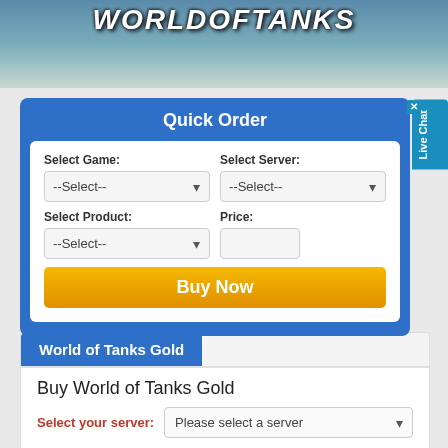[Figure (screenshot): World of Tanks game logo banner header]
Quick Order
Select Game: --Select--
Select Server: --Select--
Select Product: --Select--
Price:
Buy Now
Home > World of Tanks Gold
World of Tanks Gold
Buy World of Tanks Gold
Select your server: Please select a server